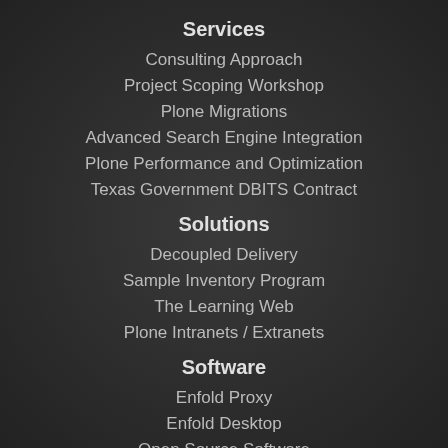Services
Consulting Approach
Project Scoping Workshop
Plone Migrations
Advanced Search Engine Integration
Plone Performance and Optimization
Texas Government DBITS Contract
Solutions
Decoupled Delivery
Sample Inventory Program
The Learning Web
Plone Intranets / Extranets
Software
Enfold Proxy
Enfold Desktop
Open Source Software
Enfold VPAT
Support